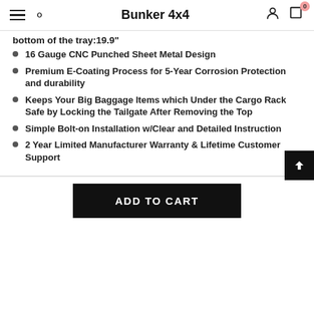Bunker 4x4
bottom of the tray:19.9"
16 Gauge CNC Punched Sheet Metal Design
Premium E-Coating Process for 5-Year Corrosion Protection and durability
Keeps Your Big Baggage Items which Under the Cargo Rack Safe by Locking the Tailgate After Removing the Top
Simple Bolt-on Installation w/Clear and Detailed Instruction
2 Year Limited Manufacturer Warranty & Lifetime Customer Support